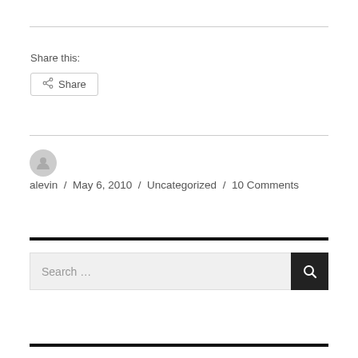Share this:
[Figure (other): Share button with share icon]
alevin / May 6, 2010 / Uncategorized / 10 Comments
[Figure (other): Search input box with search button]